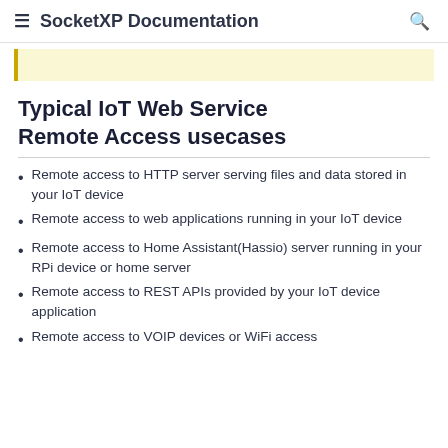SocketXP Documentation
(partial yellow callout block)
Typical IoT Web Service Remote Access usecases
Remote access to HTTP server serving files and data stored in your IoT device
Remote access to web applications running in your IoT device
Remote access to Home Assistant(Hassio) server running in your RPi device or home server
Remote access to REST APIs provided by your IoT device application
Remote access to VOIP devices or WiFi access